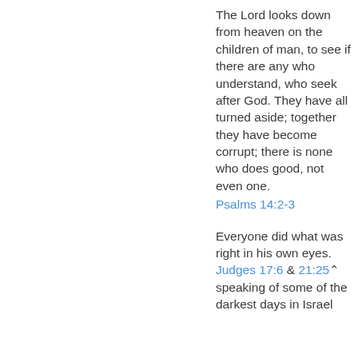The Lord looks down from heaven on the children of man, to see if there are any who understand, who seek after God. They have all turned aside; together they have become corrupt; there is none who does good, not even one.
Psalms 14:2-3
Everyone did what was right in his own eyes.
Judges 17:6 & 21:25 speaking of some of the darkest days in Israel